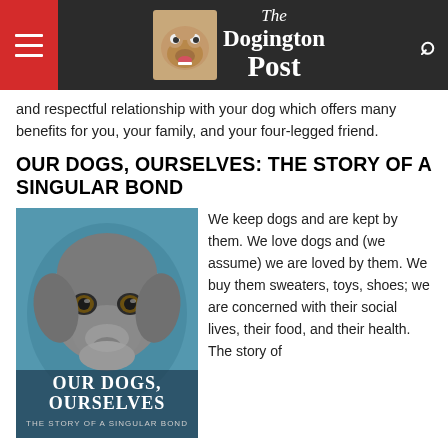The Dogington Post
and respectful relationship with your dog which offers many benefits for you, your family, and your four-legged friend.
OUR DOGS, OURSELVES: THE STORY OF A SINGULAR BOND
[Figure (photo): Book cover of 'Our Dogs, Ourselves – The Story of a Singular Bond' showing a close-up of a grey dog looking up at the camera against a teal/blue background, with the book title text overlaid at the bottom.]
We keep dogs and are kept by them. We love dogs and (we assume) we are loved by them. We buy them sweaters, toys, shoes; we are concerned with their social lives, their food, and their health. The story of